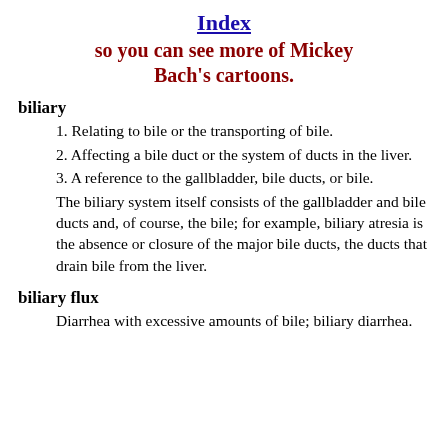Index so you can see more of Mickey Bach's cartoons.
biliary
1. Relating to bile or the transporting of bile.
2. Affecting a bile duct or the system of ducts in the liver.
3. A reference to the gallbladder, bile ducts, or bile.
The biliary system itself consists of the gallbladder and bile ducts and, of course, the bile; for example, biliary atresia is the absence or closure of the major bile ducts, the ducts that drain bile from the liver.
biliary flux
Diarrhea with excessive amounts of bile; biliary diarrhea.